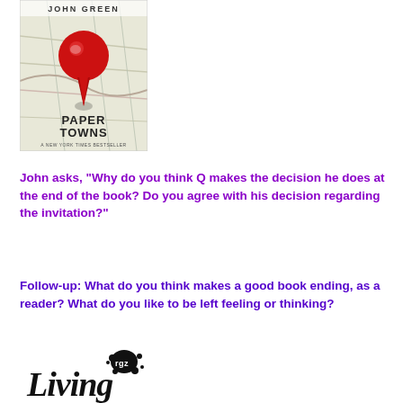[Figure (illustration): Book cover of 'Paper Towns' by John Green, showing a red map pin on a map background with the title 'Paper Towns' and subtitle 'A New York Times Bestseller']
John asks, "Why do you think Q makes the decision he does at the end of the book? Do you agree with his decision regarding the invitation?"
Follow-up: What do you think makes a good book ending, as a reader? What do you like to be left feeling or thinking?
[Figure (logo): Cursive logo reading 'Living' or similar with 'rgz' text and ink splatter design]